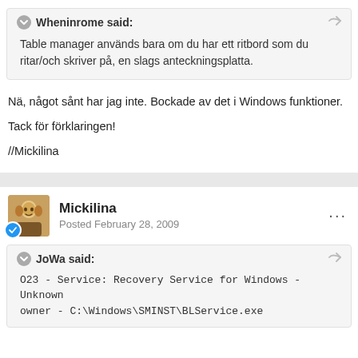Wheninrome said:
Table manager används bara om du har ett ritbord som du ritar/och skriver på, en slags anteckningsplatta.
Nä, något sånt har jag inte. Bockade av det i Windows funktioner.
Tack för förklaringen!
//Mickilina
Mickilina
Posted February 28, 2009
JoWa said:
O23 - Service: Recovery Service for Windows - Unknown owner - C:\Windows\SMINST\BLService.exe